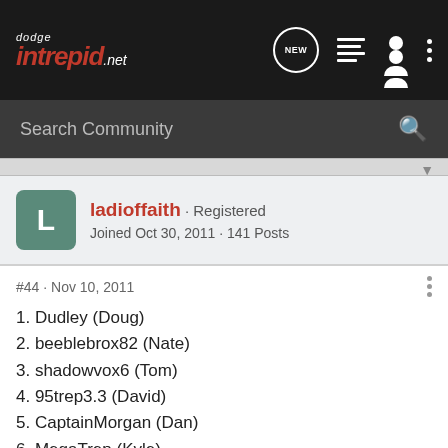dodge intrepid.net — navigation bar with NEW, list, user, and menu icons
Search Community
ladioffaith · Registered
Joined Oct 30, 2011 · 141 Posts
#44 · Nov 10, 2011
1. Dudley (Doug)
2. beeblebrox82 (Nate)
3. shadowvox6 (Tom)
4. 95trep3.3 (David)
5. CaptainMorgan (Dan)
6. MegaTrep (Kyle)
7. Chewievette (Dave)
8. MrBigE (Eric)
9. Patel.748 (Dave)